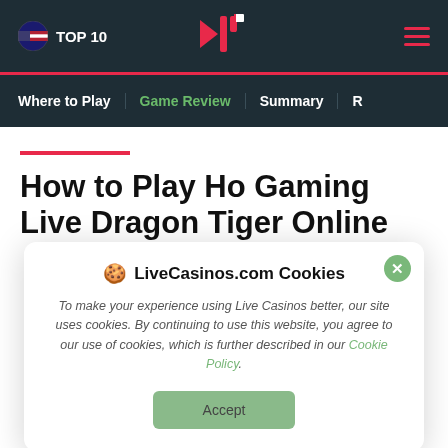TOP 10
Where to Play | Game Review | Summary | R
How to Play Ho Gaming Live Dragon Tiger Online
LiveCasinos.com Cookies
To make your experience using Live Casinos better, our site uses cookies. By continuing to use this website, you agree to our use of cookies, which is further described in our Cookie Policy.
Accept